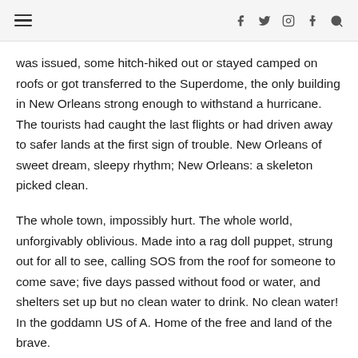≡  f  y  ⊡  t  🔍
was issued, some hitch-hiked out or stayed camped on roofs or got transferred to the Superdome, the only building in New Orleans strong enough to withstand a hurricane. The tourists had caught the last flights or had driven away to safer lands at the first sign of trouble. New Orleans of sweet dream, sleepy rhythm; New Orleans: a skeleton picked clean.
The whole town, impossibly hurt. The whole world, unforgivably oblivious. Made into a rag doll puppet, strung out for all to see, calling SOS from the roof for someone to come save; five days passed without food or water, and shelters set up but no clean water to drink. No clean water! In the goddamn US of A. Home of the free and land of the brave.